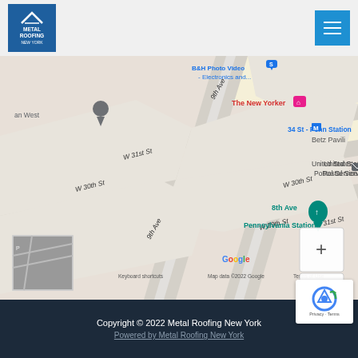Metal Roofing New York
[Figure (map): Google Maps screenshot showing streets near Penn Station, New York City. Shows W 30th St, W 31st St, W 29th St, 9th Ave, 8th Ave, B&H Photo Video Electronics, The New Yorker hotel, 34 St - Penn Station subway, United States Postal Service, Betz Pavili, Pennsylvania Station, with zoom controls (+/-). Footer shows: Keyboard shortcuts, Map data ©2022 Google, Terms of Use.]
Copyright © 2022 Metal Roofing New York